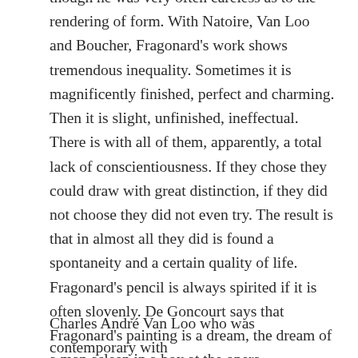though he was very often careless as to the rendering of form. With Natoire, Van Loo and Boucher, Fragonard's work shows tremendous inequality. Sometimes it is magnificently finished, perfect and charming. Then it is slight, unfinished, ineffectual. There is with all of them, apparently, a total lack of conscientiousness. If they chose they could draw with great distinction, if they did not choose they did not even try. The result is that in almost all they did is found a spontaneity and a certain quality of life. Fragonard's pencil is always spirited if it is often slovenly. De Goncourt says that Fragonard's painting is a dream, the dream of a man asleep in a box at the opera.
Charles André Van Loo who was contemporary with